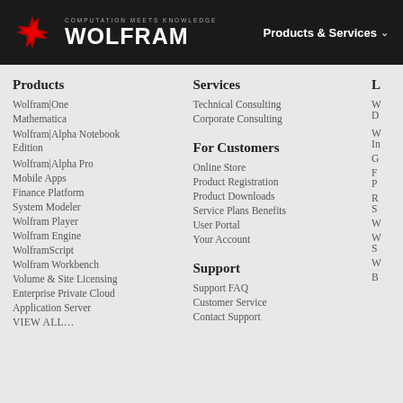COMPUTATION MEETS KNOWLEDGE | WOLFRAM | Products & Services
Products
Wolfram|One
Mathematica
Wolfram|Alpha Notebook Edition
Wolfram|Alpha Pro
Mobile Apps
Finance Platform
System Modeler
Wolfram Player
Wolfram Engine
WolframScript
Wolfram Workbench
Volume & Site Licensing
Enterprise Private Cloud
Application Server
VIEW ALL…
Services
Technical Consulting
Corporate Consulting
For Customers
Online Store
Product Registration
Product Downloads
Service Plans Benefits
User Portal
Your Account
Support
Support FAQ
Customer Service
Contact Support